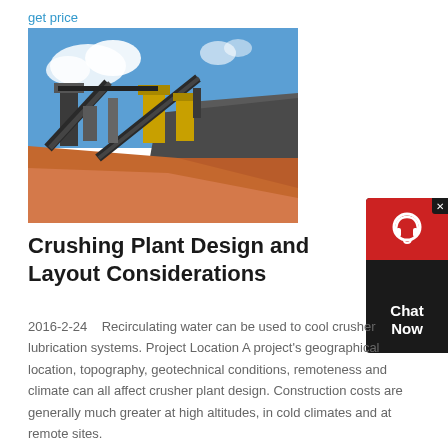get price
[Figure (photo): Outdoor photo of a crushing plant facility with conveyor belts, industrial machinery, and large gravel/ore piles against a blue sky with clouds. Red/orange dirt ground visible in foreground.]
Crushing Plant Design and Layout Considerations
2016-2-24   Recirculating water can be used to cool crusher lubrication systems. Project Location A project's geographical location, topography, geotechnical conditions, remoteness and climate can all affect crusher plant design. Construction costs are generally much greater at high altitudes, in cold climates and at remote sites.